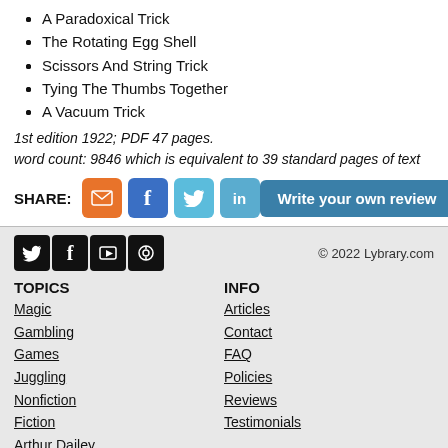A Paradoxical Trick
The Rotating Egg Shell
Scissors And String Trick
Tying The Thumbs Together
A Vacuum Trick
1st edition 1922; PDF 47 pages.
word count: 9846 which is equivalent to 39 standard pages of text
SHARE: [email] [facebook] [twitter] [linkedin]   Write your own review
© 2022 Lybrary.com
TOPICS
Magic
Gambling
Games
Juggling
Nonfiction
Fiction
Arthur Dailey
Ernest Hemingway
INFO
Articles
Contact
FAQ
Policies
Reviews
Testimonials